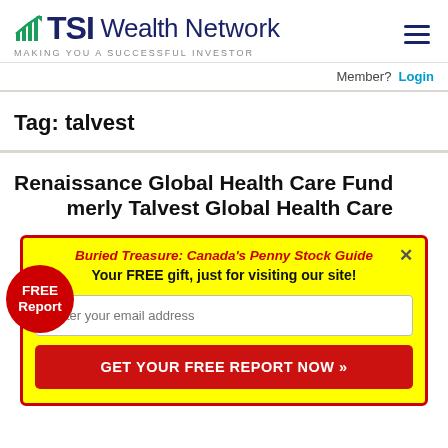[Figure (logo): TSI Wealth Network logo with arrow icon and tagline 'MAKING YOU A SUCCESSFUL INVESTOR']
Member?  Login
Tag: talvest
Renaissance Global Health Care Fund (formerly Talvest Global Health Care
[Figure (infographic): FREE Report badge (red circle) and yellow popup box: 'Buried Treasure: Canada's Penny Stock Guide' - 'Your FREE gift, just for visiting our site!' with email input and 'GET YOUR FREE REPORT NOW »' button]